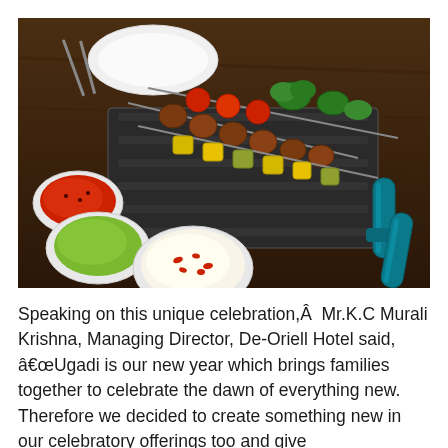[Figure (photo): A food photograph showing several skewers of grilled vegetables and meats arranged on a metal skewer holder on a dark wooden table. Three white bowls with dipping sauces (red chutney, green chutney, and white raita with red pepper pieces) are arranged in the foreground. Two decorative teal/blue handled skewers are visible on the right side.]
Speaking on this unique celebration,Â  Mr.K.C Murali Krishna, Managing Director, De-Oriell Hotel said, â€œUgadi is our new year which brings families together to celebrate the dawn of everything new. Therefore we decided to create something new in our celebratory offerings too and give